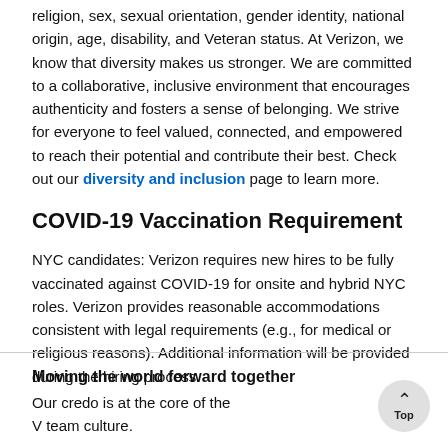religion, sex, sexual orientation, gender identity, national origin, age, disability, and Veteran status. At Verizon, we know that diversity makes us stronger. We are committed to a collaborative, inclusive environment that encourages authenticity and fosters a sense of belonging. We strive for everyone to feel valued, connected, and empowered to reach their potential and contribute their best. Check out our diversity and inclusion page to learn more.
COVID-19 Vaccination Requirement
NYC candidates: Verizon requires new hires to be fully vaccinated against COVID-19 for onsite and hybrid NYC roles. Verizon provides reasonable accommodations consistent with legal requirements (e.g., for medical or religious reasons). Additional information will be provided during the hiring process.
Moving the world forward together
Our credo is at the core of the V team culture.